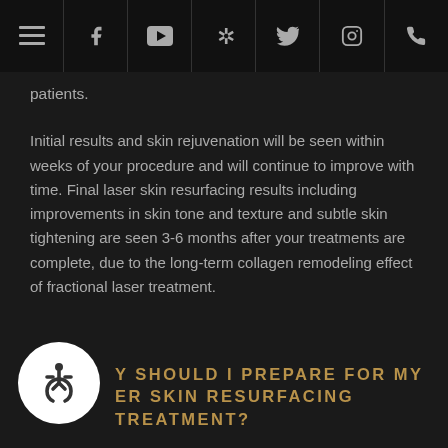Navigation bar with menu, facebook, youtube, yelp, twitter, instagram, phone icons
patients.
Initial results and skin rejuvenation will be seen within weeks of your procedure and will continue to improve with time. Final laser skin resurfacing results including improvements in skin tone and texture and subtle skin tightening are seen 3-6 months after your treatments are complete, due to the long-term collagen remodeling effect of fractional laser treatment.
HOW SHOULD I PREPARE FOR MY LASER SKIN RESURFACING TREATMENT?